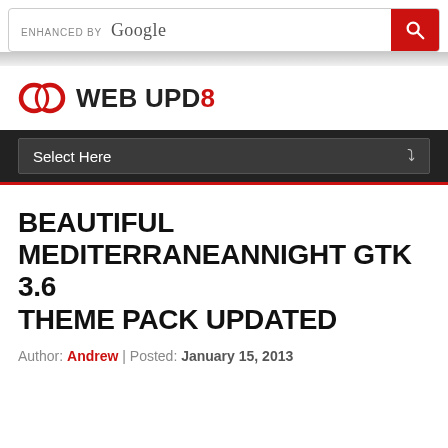[Figure (screenshot): Search bar with 'ENHANCED BY Google' text and red search button with magnifying glass icon]
[Figure (logo): Web Upd8 logo with two overlapping circles icon and bold text WEB UPD8 where 8 is in red]
Select Here
BEAUTIFUL MEDITERRANEANNIGHT GTK 3.6 THEME PACK UPDATED
Author: Andrew | Posted: January 15, 2013